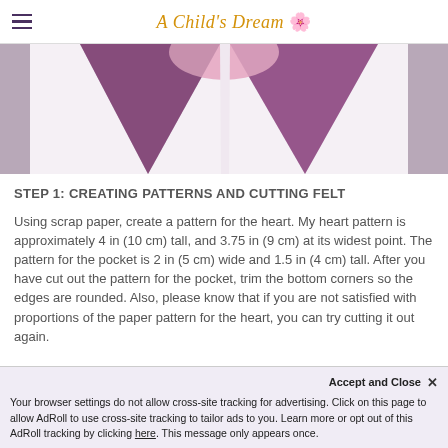A Child's Dream 🌸
[Figure (photo): Close-up photo of purple felt triangular/pennant shapes arranged pointing downward, with a light pink piece visible at the top center, on a white background. Craft project in progress.]
STEP 1: CREATING PATTERNS AND CUTTING FELT
Using scrap paper, create a pattern for the heart. My heart pattern is approximately 4 in (10 cm) tall, and 3.75 in (9 cm) at its widest point. The pattern for the pocket is 2 in (5 cm) wide and 1.5 in (4 cm) tall. After you have cut out the pattern for the pocket, trim the bottom corners so the edges are rounded. Also, please know that if you are not satisfied with proportions of the paper pattern for the heart, you can try cutting it out again.
Accept and Close ✕ Your browser settings do not allow cross-site tracking for advertising. Click on this page to allow AdRoll to use cross-site tracking to tailor ads to you. Learn more or opt out of this AdRoll tracking by clicking here. This message only appears once.